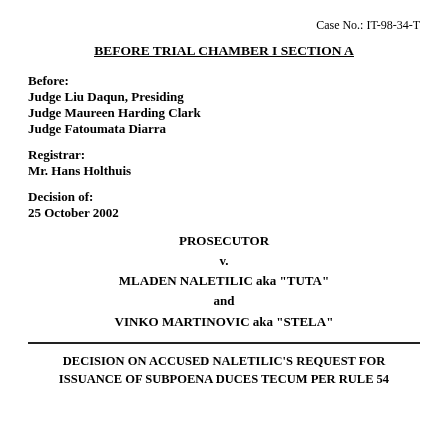Case No.: IT-98-34-T
BEFORE TRIAL CHAMBER I SECTION A
Before:
Judge Liu Daqun, Presiding
Judge Maureen Harding Clark
Judge Fatoumata Diarra
Registrar:
Mr. Hans Holthuis
Decision of:
25 October 2002
PROSECUTOR
v.
MLADEN NALETILIC aka "TUTA"
and
VINKO MARTINOVIC aka "STELA"
DECISION ON ACCUSED NALETILIC'S REQUEST FOR ISSUANCE OF SUBPOENA DUCES TECUM PER RULE 54